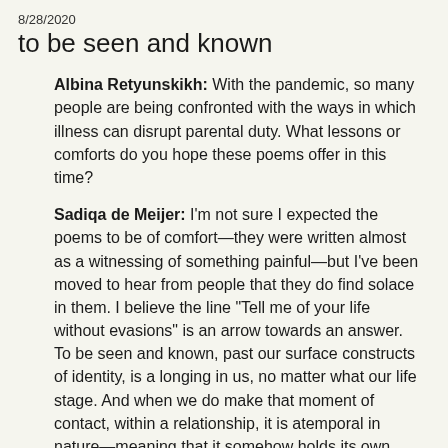8/28/2020
to be seen and known
Albina Retyunskikh: With the pandemic, so many people are being confronted with the ways in which illness can disrupt parental duty. What lessons or comforts do you hope these poems offer in this time?
Sadiqa de Meijer: I'm not sure I expected the poems to be of comfort—they were written almost as a witnessing of something painful—but I've been moved to hear from people that they do find solace in them. I believe the line "Tell me of your life without evasions" is an arrow towards an answer. To be seen and known, past our surface constructs of identity, is a longing in us, no matter what our life stage. And when we do make that moment of contact, within a relationship, it is atemporal in nature—meaning that it somehow holds its own within the pain of the losses, which are always losses of time with